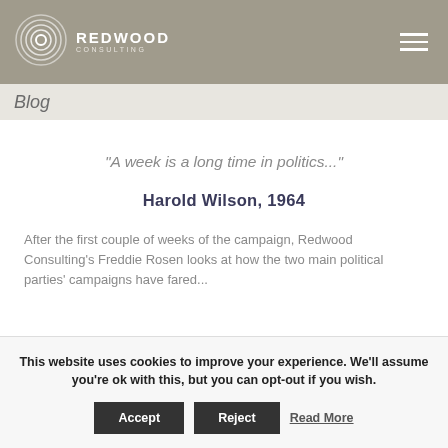Redwood Consulting
Blog
"A week is a long time in politics..."
Harold Wilson, 1964
After the first couple of weeks of the campaign, Redwood Consulting's Freddie Rosen looks at how the two main political parties' campaigns have fared...
This website uses cookies to improve your experience. We'll assume you're ok with this, but you can opt-out if you wish. Accept Reject Read More